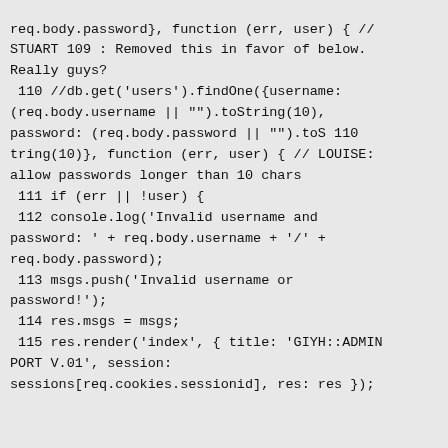req.body.password}, function (err, user) { // STUART 109 : Removed this in favor of below. Really guys?
 110 //db.get('users').findOne({username: (req.body.username || "").toString(10), password: (req.body.password || "").toS 110 tring(10)}, function (err, user) { // LOUISE: allow passwords longer than 10 chars
 111 if (err || !user) {
 112 console.log('Invalid username and password: ' + req.body.username + '/' + req.body.password);
 113 msgs.push('Invalid username or password!');
 114 res.msgs = msgs;
 115 res.render('index', { title: 'GIYH::ADMIN PORT V.01', session: sessions[req.cookies.sessionid], res: res });